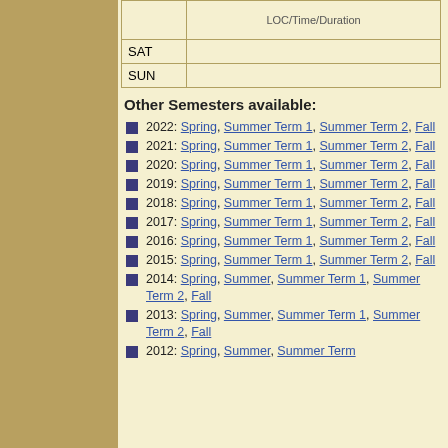| Day | LOC/Time/Duration |
| --- | --- |
| SAT |  |
| SUN |  |
Other Semesters available:
2022: Spring, Summer Term 1, Summer Term 2, Fall
2021: Spring, Summer Term 1, Summer Term 2, Fall
2020: Spring, Summer Term 1, Summer Term 2, Fall
2019: Spring, Summer Term 1, Summer Term 2, Fall
2018: Spring, Summer Term 1, Summer Term 2, Fall
2017: Spring, Summer Term 1, Summer Term 2, Fall
2016: Spring, Summer Term 1, Summer Term 2, Fall
2015: Spring, Summer Term 1, Summer Term 2, Fall
2014: Spring, Summer, Summer Term 1, Summer Term 2, Fall
2013: Spring, Summer, Summer Term 1, Summer Term 2, Fall
2012: Spring, Summer, Summer Term 1, Summer Term 2, Fall